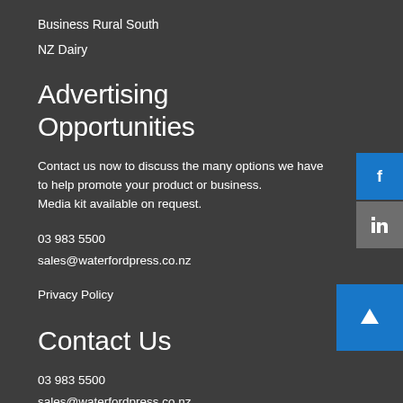Business Rural South
NZ Dairy
Advertising Opportunities
Contact us now to discuss the many options we have to help promote your product or business.
Media kit available on request.
03 983 5500
sales@waterfordpress.co.nz
Privacy Policy
Contact Us
03 983 5500
sales@waterfordpress.co.nz